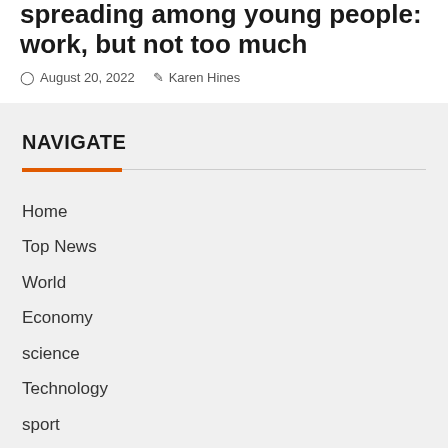spreading among young people: work, but not too much
August 20, 2022   Karen Hines
NAVIGATE
Home
Top News
World
Economy
science
Technology
sport
Entertainment
Contact Form